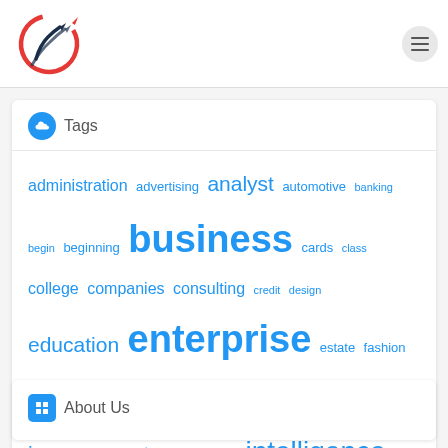[Figure (logo): Circular logo with red and dark blue upward arrows forming a circular shape]
Tags
administration advertising analyst automotive banking begin beginning business cards class college companies consulting credit design education enterprise estate fashion finance finest greatest health house ideas improvement information intelligence leisure management manager master methods online playing proposal proposals small software start starting technology travel write writing
About Us